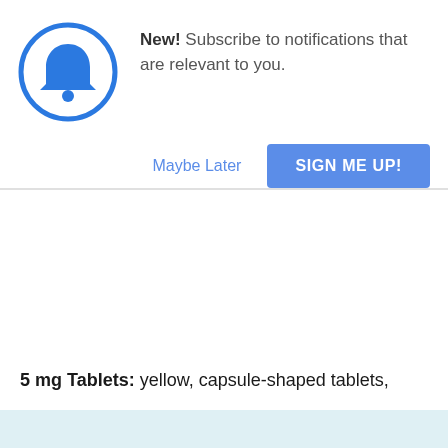[Figure (illustration): Blue bell icon inside a blue circle, representing a notification bell]
New! Subscribe to notifications that are relevant to you.
Maybe Later
SIGN ME UP!
5 mg Tablets: yellow, capsule-shaped tablets,